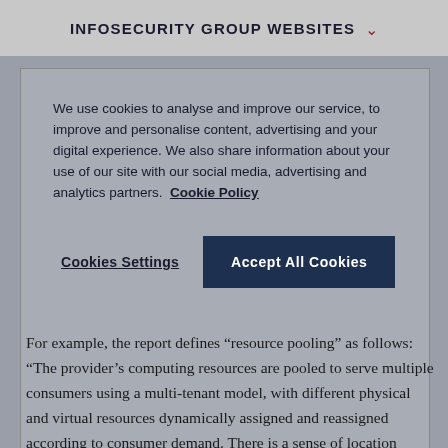INFOSECURITY GROUP WEBSITES
We use cookies to analyse and improve our service, to improve and personalise content, advertising and your digital experience. We also share information about your use of our site with our social media, advertising and analytics partners. Cookie Policy
Cookies Settings
Accept All Cookies
For example, the report defines "resource pooling" as follows: "The provider's computing resources are pooled to serve multiple consumers using a multi-tenant model, with different physical and virtual resources dynamically assigned and reassigned according to consumer demand. There is a sense of location independence in that the customer generally has no control or knowledge over the exact location of the provided resources but may be able to specify location at a higher level of abstraction (e.g., country, state, or datacenter)."